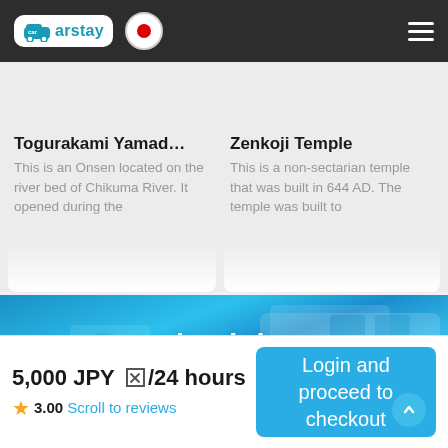Carstay app navigation bar with logo and Japan flag icon
Togurakami Yamad…
This is an Onsen located on the river bed of Chikuma River. It opened during the
Zenkoji Temple
This is a non-sectarian temple that was built in 644 AD. The temple was built to
[Figure (photo): Blue banner with camper van vehicle background and 'Download the app' text overlay]
5,000 JPY ⊠/24 hours
★ 3.00 Scroll to reviews
Login and proceed to checkout